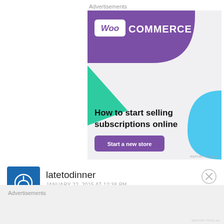Advertisements
[Figure (illustration): WooCommerce advertisement banner with purple header containing WooCommerce logo, green triangle shape on left, blue curved shape on right, headline 'How to start selling subscriptions online', and purple 'Start a new store' button on light grey background.]
REPORT THIS AD
latetodinner
JANUARY 22, 2015 AT 12:38 PM
Advertisements
REPORT THIS AD